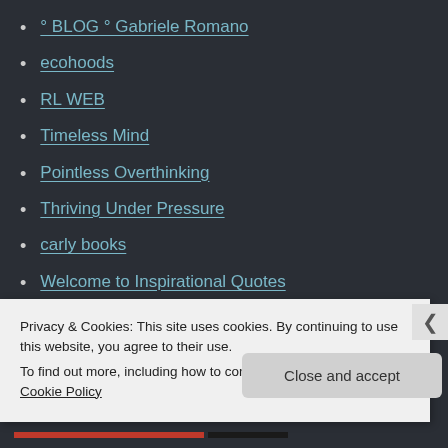° BLOG ° Gabriele Romano
ecohoods
RL WEB
Timeless Mind
Pointless Overthinking
Thriving Under Pressure
carly books
Welcome to Inspirational Quotes
BeautyfulU
NO MIDDLEMAN ART GALLERY Edge of Humanity Magazine
Privacy & Cookies: This site uses cookies. By continuing to use this website, you agree to their use.
To find out more, including how to control cookies, see here: Cookie Policy
Close and accept